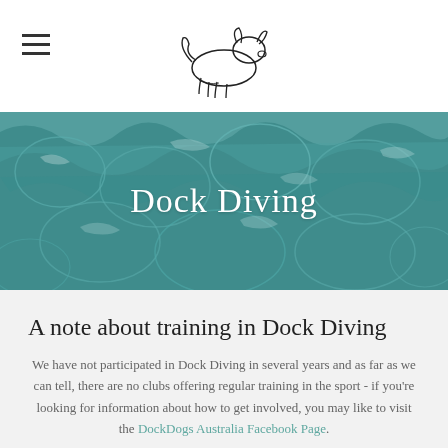[navigation hamburger menu + dog logo]
[Figure (photo): Aerial view of turquoise water with light refracting through the surface, used as hero banner background]
Dock Diving
A note about training in Dock Diving
We have not participated in Dock Diving in several years and as far as we can tell, there are no clubs offering regular training in the sport - if you're looking for information about how to get involved, you may like to visit the DockDogs Australia Facebook Page.